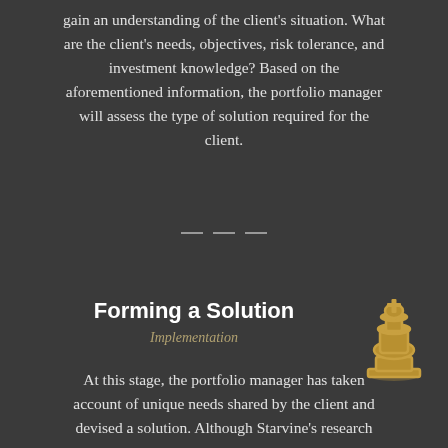gain an understanding of the client's situation. What are the client's needs, objectives, risk tolerance, and investment knowledge? Based on the aforementioned information, the portfolio manager will assess the type of solution required for the client.
Forming a Solution
Implementation
[Figure (illustration): Gold chess king piece icon]
At this stage, the portfolio manager has taken account of unique needs shared by the client and devised a solution. Although Starvine's research resources